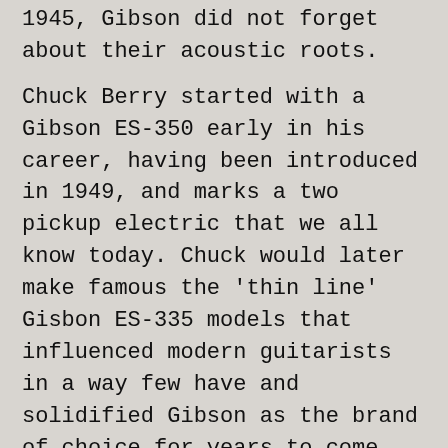1945, Gibson did not forget about their acoustic roots.
Chuck Berry started with a Gibson ES-350 early in his career, having been introduced in 1949, and marks a two pickup electric that we all know today. Chuck would later make famous the 'thin line' Gisbon ES-335 models that influenced modern guitarists in a way few have and solidified Gibson as the brand of choice for years to come.
GIBSON'S LEGACY
Gibson USA has many guitar designs that are considered standards in today's music. Throughout their Les Paul line are numerous models that have been popular among guitarists for years. The Les Paul Studio, Standard, Custom can be found in the collections of thousands of guitarists worldwide. The SG line of electric guitars, including the '61